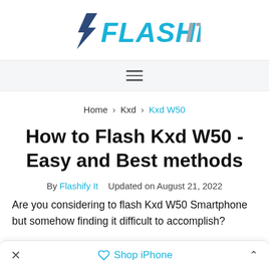[Figure (logo): Flashify It logo with lightning bolt and stylized text in blue and gray]
Navigation menu bar with hamburger icon
Home > Kxd > Kxd W50
How to Flash Kxd W50 - Easy and Best methods
By Flashify It   Updated on August 21, 2022
Are you considering to flash Kxd W50 Smartphone but somehow finding it difficult to accomplish?
Shop iPhone